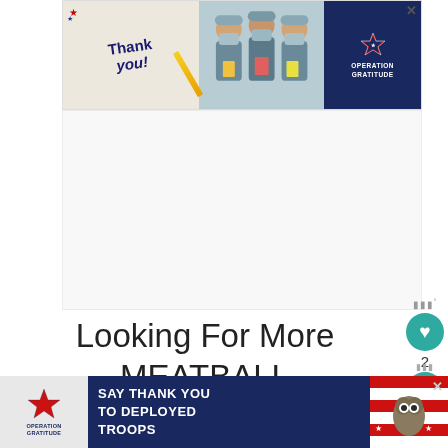[Figure (photo): Operation Gratitude ad banner at top — shows 'Thank you!' handwriting with a pencil graphic, photo of three medical workers in masks holding cards/gifts, and Operation Gratitude logo on dark blue background.]
[Figure (other): Large blank/white advertisement placeholder area in the center of the page.]
Looking For More MEATBALL Recipes?
You can find ALL of my recipes in the Recipe Index, lo... m...
[Figure (other): Operation Gratitude bottom banner ad — dark blue background, says 'SAY THANK YOU TO DEPLOYED TROOPS', has logo on left and owl/patriotic illustration on right with a close button.]